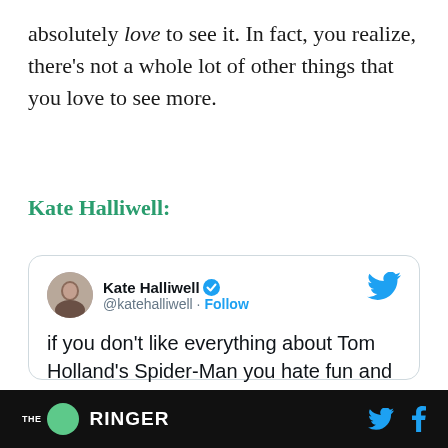absolutely love to see it. In fact, you realize, there's not a whole lot of other things that you love to see more.
Kate Halliwell:
[Figure (screenshot): Embedded tweet from @katehalliwell saying 'if you don't like everything about Tom Holland's Spider-Man you hate fun and that's all there is to it' posted at 2:07 AM · Jul 3, 2019]
THE RINGER